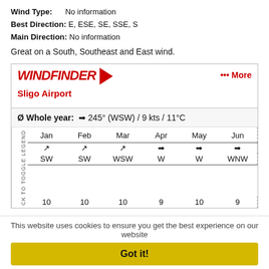Wind Type: No information
Best Direction: E, ESE, SE, SSE, S
Main Direction: No information
Great on a South, Southeast and East wind.
[Figure (screenshot): Windfinder widget showing Sligo Airport wind data. Average whole year: 245° (WSW) / 9 kts / 11°C. Monthly wind direction arrows and speeds: Jan SW 10, Feb SW 10, Mar WSW 10, Apr W 9, May W 10, Jun WNW 9.]
This website uses cookies to ensure you get the best experience on our website
Got it!